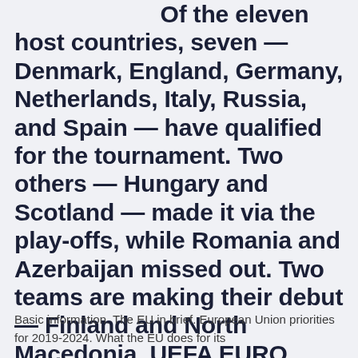Jan 00, 2021 Of the eleven host countries, seven — Denmark, England, Germany, Netherlands, Italy, Russia, and Spain — have qualified for the tournament. Two others — Hungary and Scotland — made it via the play-offs, while Romania and Azerbaijan missed out. Two teams are making their debut — Finland and North Macedonia. UEFA EURO 2020 GROUPS
Basic information. The EU in brief. European Union priorities for 2019-2024. What the EU does for its